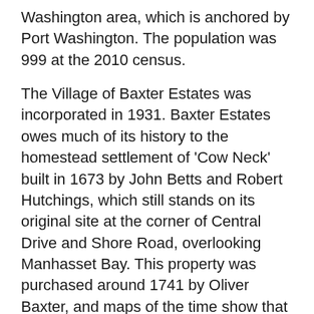Washington area, which is anchored by Port Washington. The population was 999 at the 2010 census.
The Village of Baxter Estates was incorporated in 1931. Baxter Estates owes much of its history to the homestead settlement of 'Cow Neck' built in 1673 by John Betts and Robert Hutchings, which still stands on its original site at the corner of Central Drive and Shore Road, overlooking Manhasset Bay. This property was purchased around 1741 by Oliver Baxter, and maps of the time show that an entire wigwam village, belonging to the Matinecock Indians, may have been located on Baxter's land.
The Baxters, who were shipbuilders, whalers and sea captains, retained the property until the 19th century. Hessian troops were quartered in the Baxter House during the Revolutionary War, and in 1895 the first library of Port Washington met in the parlor of the